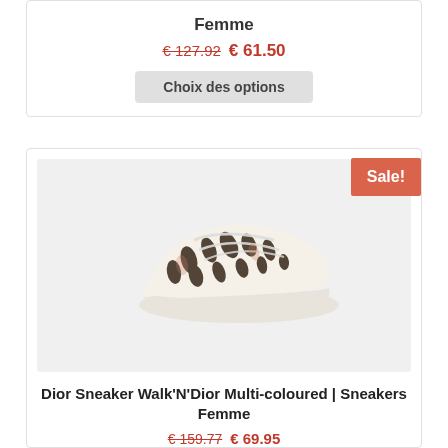Femme
€ 127.92  € 61.50
Choix des options
[Figure (photo): Dior Walk'N'Dior sneaker with multi-coloured leopard/animal print pattern on a light grey background]
Sale!
Dior Sneaker Walk'N'Dior Multi-coloured | Sneakers Femme
€ 159.77  € 69.95